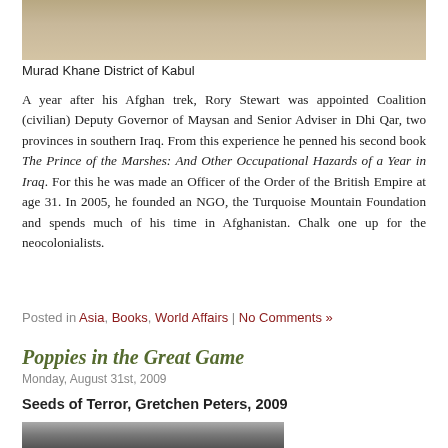[Figure (photo): Photograph of Murad Khane District of Kabul, showing a dusty landscape]
Murad Khane District of Kabul
A year after his Afghan trek, Rory Stewart was appointed Coalition (civilian) Deputy Governor of Maysan and Senior Adviser in Dhi Qar, two provinces in southern Iraq. From this experience he penned his second book The Prince of the Marshes: And Other Occupational Hazards of a Year in Iraq. For this he was made an Officer of the Order of the British Empire at age 31. In 2005, he founded an NGO, the Turquoise Mountain Foundation and spends much of his time in Afghanistan. Chalk one up for the neocolonialists.
Posted in Asia, Books, World Affairs | No Comments »
Poppies in the Great Game
Monday, August 31st, 2009
Seeds of Terror, Gretchen Peters, 2009
[Figure (photo): Close-up photograph of poppy seed pods]